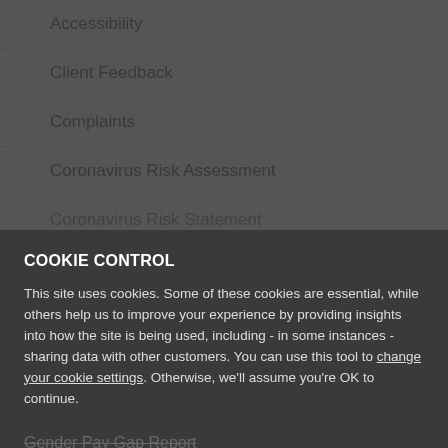Accessibility
Client Feedback
Complaints
Coronavirus Risk Assessment
Coronavirus Risk Statement
Data Protection Privacy Notice
Freeths Accreditations
COOKIE CONTROL
This site uses cookies. Some of these cookies are essential, while others help us to improve your experience by providing insights into how the site is being used, including - in some instances - sharing data with other customers. You can use this tool to change your cookie settings. Otherwise, we'll assume you're OK to continue.
Gender Pay Gap Report
Modern Slavery Act
FREETHS  More details